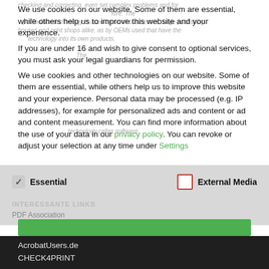We use cookies on our website. Some of them are essential, while others help us to improve this website and your experience.
If you are under 16 and wish to give consent to optional services, you must ask your legal guardians for permission.
We use cookies and other technologies on our website. Some of them are essential, while others help us to improve this website and your experience. Personal data may be processed (e.g. IP addresses), for example for personalized ads and content or ad and content measurement. You can find more information about the use of your data in our privacy policy. You can revoke or adjust your selection at any time under Settings.
Essential
External Media
INTERESSANTE LINKS
PDF Association
AcrobatUsers.de
CHECK4PRINT
PDF-AKTUELL
Blog callas software